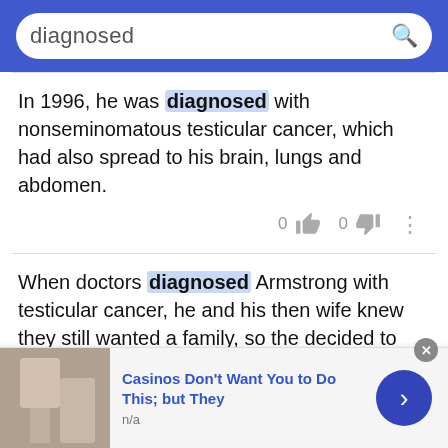[Figure (screenshot): Search bar with text 'diagnosed' on blue background]
In 1996, he was diagnosed with nonseminomatous testicular cancer, which had also spread to his brain, lungs and abdomen.
When doctors diagnosed Armstrong with testicular cancer, he and his then wife knew they still wanted a family, so the decided to store his sperm in order to get pregnant later by artificial insemination.
Actress Christina Applegate, star of Samantha
Casinos Don't Want You to Do This; but They
n/a